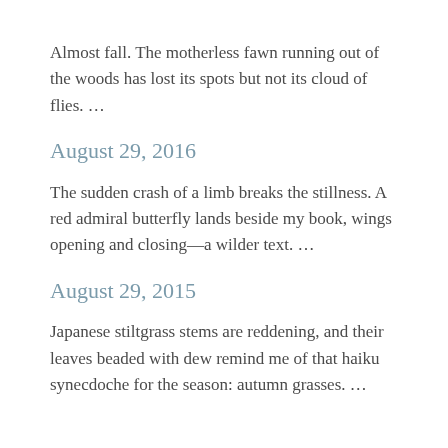Almost fall. The motherless fawn running out of the woods has lost its spots but not its cloud of flies. …
August 29, 2016
The sudden crash of a limb breaks the stillness. A red admiral butterfly lands beside my book, wings opening and closing—a wilder text. …
August 29, 2015
Japanese stiltgrass stems are reddening, and their leaves beaded with dew remind me of that haiku synecdoche for the season: autumn grasses. …